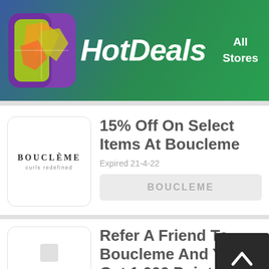HotDeals — All Stores
[Figure (logo): HotDeals logo with colorful figure icon and green gradient header background. Text reads HotDeals in bold italic white. Top right shows All Stores.]
15% Off On Select Items At Boucleme
Expired 21-4-22
BOUCLEME
Refer A Friend To Boucleme And You Get 1,000 Points